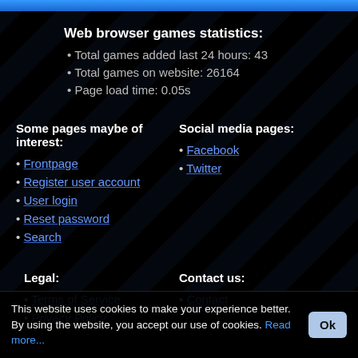Web browser games statistics:
Total games added last 24 hours: 43
Total games on website: 26164
Page load time: 0.05s
Some pages maybe of interest:
Frontpage
Register user account
User login
Reset password
Search
Social media pages:
Facebook
Twitter
Legal:
Terms of Service
Privacy Policy
Contact us:
Contact
This website uses cookies to make your experience better. By using the website, you accept our use of cookies. Read more...